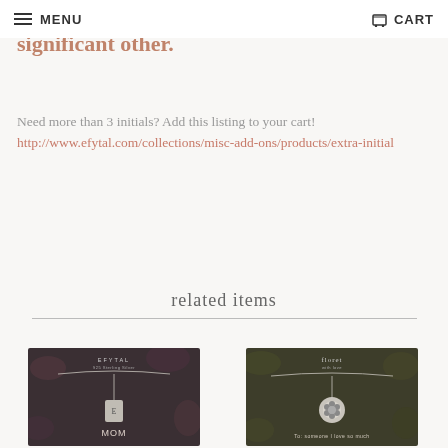MENU | CART
friend, husband, or significant other.
Need more than 3 initials? Add this listing to your cart! http://www.efytal.com/collections/misc-add-ons/products/extra-initial
related items
[Figure (photo): Product photo of a necklace on dark floral card packaging labeled MOM]
[Figure (photo): Product photo of a necklace with flower pendant on dark botanical card packaging]